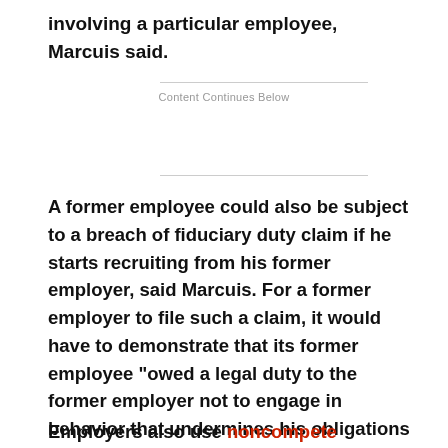involving a particular employee, Marcuis said.
Content Continues Below
A former employee could also be subject to a breach of fiduciary duty claim if he starts recruiting from his former employer, said Marcuis. For a former employer to file such a claim, it would have to demonstrate that its former employee "owed a legal duty to the former employer not to engage in behavior that undermines his obligations [to that employer]," he explained.
Employers also use noncompete agreements as